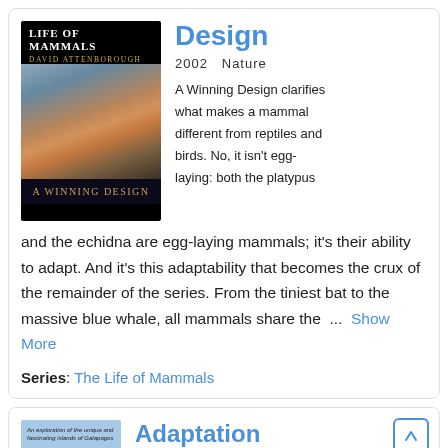[Figure (photo): Book cover of 'The Life of Mammals' by David Attenborough, showing a tiger and subtitle 'A Winning Design']
Design
2002   Nature
A Winning Design clarifies what makes a mammal different from reptiles and birds. No, it isn't egg-laying: both the platypus and the echidna are egg-laying mammals; it's their ability to adapt. And it's this adaptability that becomes the crux of the remainder of the series. From the tiniest bat to the massive blue whale, all mammals share the ...  Show More
Series: The Life of Mammals
Adaptation
[Figure (photo): Partial book cover showing a person and text about the unique and fascinating islands of Galapagos]